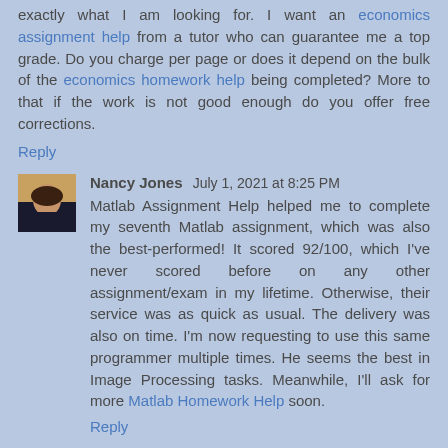exactly what I am looking for. I want an economics assignment help from a tutor who can guarantee me a top grade. Do you charge per page or does it depend on the bulk of the economics homework help being completed? More to that if the work is not good enough do you offer free corrections.
Reply
[Figure (photo): Small avatar photo of Nancy Jones, a woman with dark hair]
Nancy Jones July 1, 2021 at 8:25 PM
Matlab Assignment Help helped me to complete my seventh Matlab assignment, which was also the best-performed! It scored 92/100, which I've never scored before on any other assignment/exam in my lifetime. Otherwise, their service was as quick as usual. The delivery was also on time. I'm now requesting to use this same programmer multiple times. He seems the best in Image Processing tasks. Meanwhile, I'll ask for more Matlab Homework Help soon.
Reply